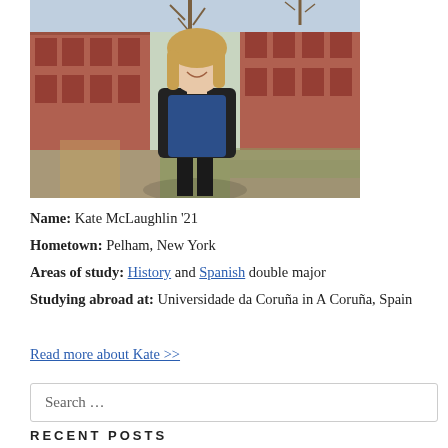[Figure (photo): Young woman with shoulder-length blonde hair smiling, wearing a blue patterned top and black cardigan, standing outdoors on a university campus with brick buildings and bare trees in the background.]
Name: Kate McLaughlin '21
Hometown: Pelham, New York
Areas of study: History and Spanish double major
Studying abroad at: Universidade da Coruña in A Coruña, Spain
Read more about Kate >>
Search …
RECENT POSTS